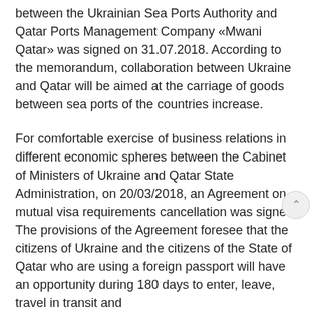between the Ukrainian Sea Ports Authority and Qatar Ports Management Company «Mwani Qatar» was signed on 31.07.2018. According to the memorandum, collaboration between Ukraine and Qatar will be aimed at the carriage of goods between sea ports of the countries increase.
For comfortable exercise of business relations in different economic spheres between the Cabinet of Ministers of Ukraine and Qatar State Administration, on 20/03/2018, an Agreement on mutual visa requirements cancellation was signed. The provisions of the Agreement foresee that the citizens of Ukraine and the citizens of the State of Qatar who are using a foreign passport will have an opportunity during 180 days to enter, leave, travel in transit and